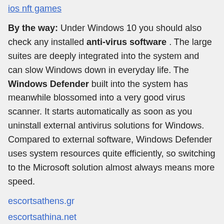ios nft games
By the way: Under Windows 10 you should also check any installed anti-virus software . The large suites are deeply integrated into the system and can slow Windows down in everyday life. The Windows Defender built into the system has meanwhile blossomed into a very good virus scanner. It starts automatically as soon as you uninstall external antivirus solutions for Windows. Compared to external software, Windows Defender uses system resources quite efficiently, so switching to the Microsoft solution almost always means more speed.
escortsathens.gr
escortsathina.net
mykonosgirls.com
esex.gr
servidor vps